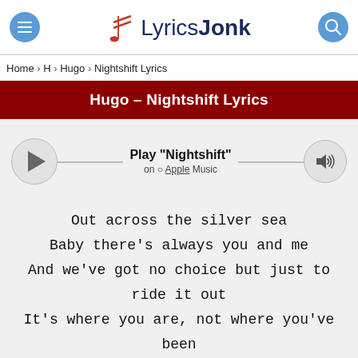LyricsJonk
Home > H > Hugo > Nightshift Lyrics
Hugo - Nightshift Lyrics
[Figure (other): Music player widget with play button, track title 'Play Nightshift' on Apple Music, and volume button]
Out across the silver sea
Baby there's always you and me
And we've got no choice but just to ride it out
It's where you are, not where you've been